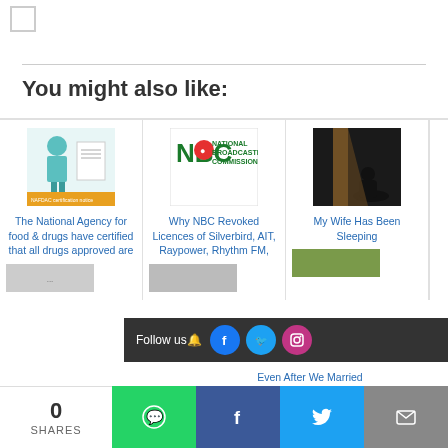You might also like:
The National Agency for food & drugs have certified that all drugs approved are
Why NBC Revoked Licences of Silverbird, AIT, Raypower, Rhythm FM,
My Wife Has Been Sleeping Even After We Married
Follow us🔔
0 SHARES